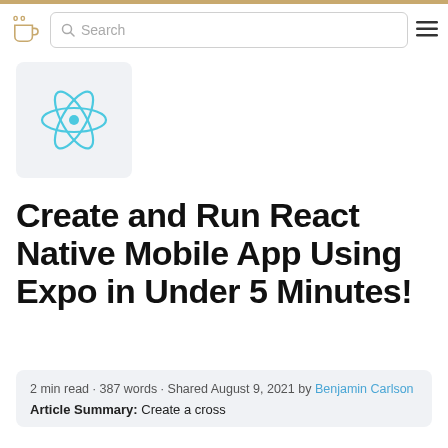Search
[Figure (logo): React Native logo — teal atom/electron icon on a light grey square background]
Create and Run React Native Mobile App Using Expo in Under 5 Minutes!
2 min read · 387 words · Shared August 9, 2021 by Benjamin Carlson
Article Summary: Create a cross